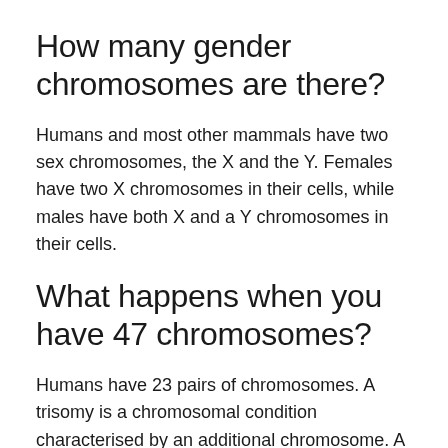How many gender chromosomes are there?
Humans and most other mammals have two sex chromosomes, the X and the Y. Females have two X chromosomes in their cells, while males have both X and a Y chromosomes in their cells.
What happens when you have 47 chromosomes?
Humans have 23 pairs of chromosomes. A trisomy is a chromosomal condition characterised by an additional chromosome. A person with a trisomy has 47 chromosomes instead of 46. Down